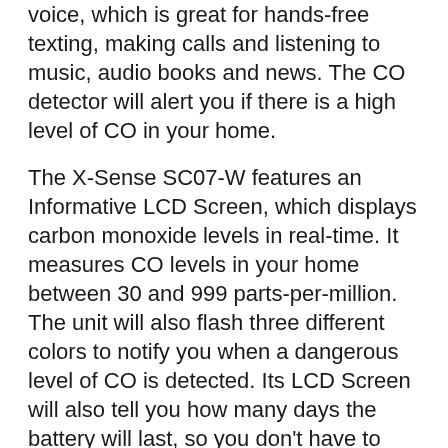voice, which is great for hands-free texting, making calls and listening to music, audio books and news. The CO detector will alert you if there is a high level of CO in your home.
The X-Sense SC07-W features an Informative LCD Screen, which displays carbon monoxide levels in real-time. It measures CO levels in your home between 30 and 999 parts-per-million. The unit will also flash three different colors to notify you when a dangerous level of CO is detected. Its LCD Screen will also tell you how many days the battery will last, so you don’t have to worry about running out.
X-sense Home